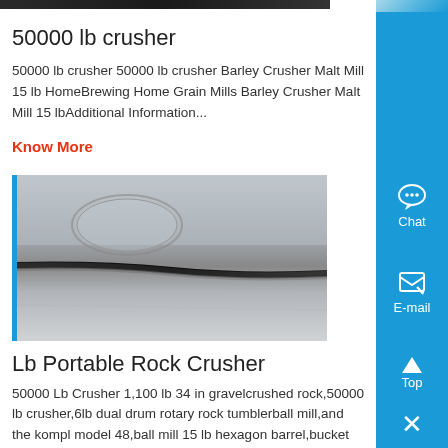[Figure (photo): Top partial image of a dark crusher machine, cropped at top]
50000 lb crusher
50000 lb crusher 50000 lb crusher Barley Crusher Malt Mill 15 lb HomeBrewing Home Grain Mills Barley Crusher Malt Mill 15 lbAdditional Information...
Know More
[Figure (photo): Photo of a metallic surface with a dark crack or seam running diagonally, appearing to be a close-up of a rock crusher surface]
Lb Portable Rock Crusher
50000 Lb Crusher 1,100 lb 34 in gravelcrushed rock,50000 lb crusher,6lb dual drum rotary rock tumblerball mill,and the kompl model 48,ball mill 15 lb hexagon barrel,bucket crusher,chapter 6 ...